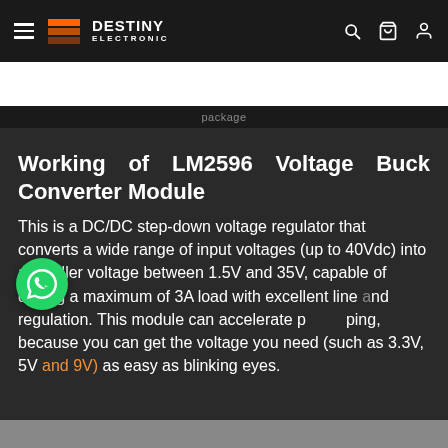Destiny Electronic - Navigation bar with hamburger menu, logo, search, cart, and account icons
Product | Description | What's in the box
Working of LM2596 Voltage Buck Converter Module
This is a DC/DC step-down voltage regulator that converts a wide range of input voltages (up to 40Vdc) into a smaller voltage between 1.5V and 35V, capable of driving a maximum of 3A load with excellent line and load regulation. This module can accelerate prototyping, because you can get the voltage you need (such as 3.3V, 5V and 9V) as easy as blinking eyes.